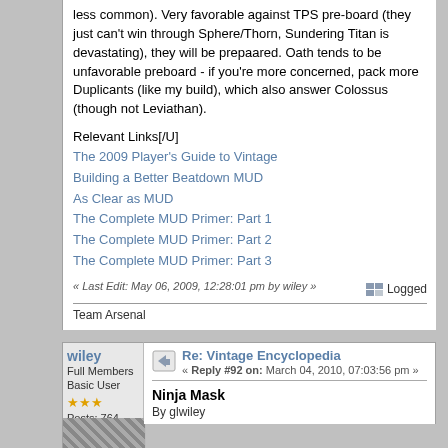less common). Very favorable against TPS pre-board (they just can't win through Sphere/Thorn, Sundering Titan is devastating), they will be prepaared. Oath tends to be unfavorable preboard - if you're more concerned, pack more Duplicants (like my build), which also answer Colossus (though not Leviathan).
Relevant Links[/U]
The 2009 Player's Guide to Vintage
Building a Better Beatdown MUD
As Clear as MUD
The Complete MUD Primer: Part 1
The Complete MUD Primer: Part 2
The Complete MUD Primer: Part 3
« Last Edit: May 06, 2009, 12:28:01 pm by wiley »
Logged
Team Arsenal
wiley
Full Members Basic User
Posts: 764
Re: Vintage Encyclopedia
« Reply #92 on: March 04, 2010, 07:03:56 pm »
Ninja Mask
By glwiley